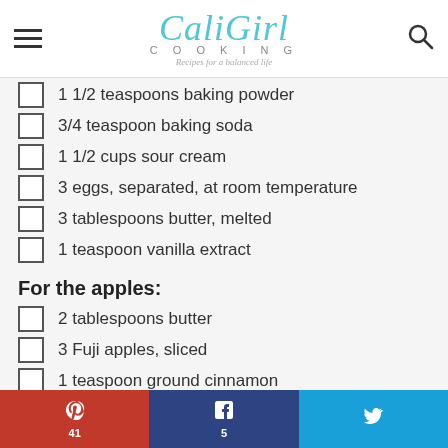CaliGirl Cooking — Recipes for a balanced life
1 1/2 teaspoons baking powder
3/4 teaspoon baking soda
1 1/2 cups sour cream
3 eggs, separated, at room temperature
3 tablespoons butter, melted
1 teaspoon vanilla extract
For the apples:
2 tablespoons butter
3 Fuji apples, sliced
1 teaspoon ground cinnamon
2 tablespoons maple syrup
For the whipped cream:
1 cup heavy cream
Pinterest 41 | Facebook 5 | Twitter